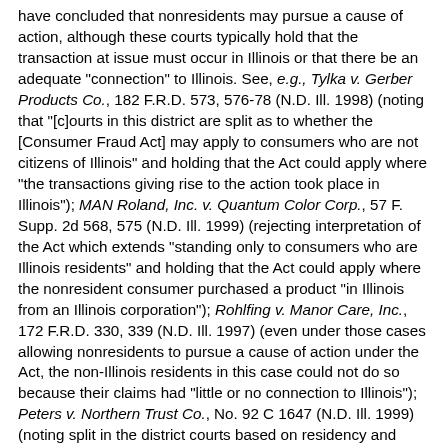have concluded that nonresidents may pursue a cause of action, although these courts typically hold that the transaction at issue must occur in Illinois or that there be an adequate "connection" to Illinois. See, e.g., Tylka v. Gerber Products Co., 182 F.R.D. 573, 576-78 (N.D. Ill. 1998) (noting that "[c]ourts in this district are split as to whether the [Consumer Fraud Act] may apply to consumers who are not citizens of Illinois" and holding that the Act could apply where "the transactions giving rise to the action took place in Illinois"); MAN Roland, Inc. v. Quantum Color Corp., 57 F. Supp. 2d 568, 575 (N.D. Ill. 1999) (rejecting interpretation of the Act which extends "standing only to consumers who are Illinois residents" and holding that the Act could apply where the nonresident consumer purchased a product "in Illinois from an Illinois corporation"); Rohlfing v. Manor Care, Inc., 172 F.R.D. 330, 339 (N.D. Ill. 1997) (even under those cases allowing nonresidents to pursue a cause of action under the Act, the non-Illinois residents in this case could not do so because their claims had "little or no connection to Illinois"); Peters v. Northern Trust Co., No. 92 C 1647 (N.D. Ill. 1999) (noting split in the district courts based on residency and holding that plaintiffs' consumer fraud claim failed because the conduct underlying the claims had "no connection to Illinois").
Additional interpretations of section 1(f) also exist in the